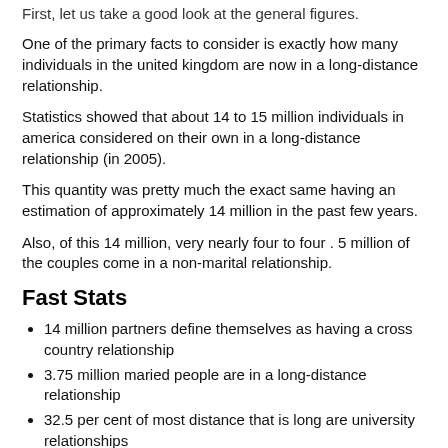First, let us take a good look at the general figures.
One of the primary facts to consider is exactly how many individuals in the united kingdom are now in a long-distance relationship.
Statistics showed that about 14 to 15 million individuals in america considered on their own in a long-distance relationship (in 2005).
This quantity was pretty much the exact same having an estimation of approximately 14 million in the past few years.
Also, of this 14 million, very nearly four to four . 5 million of the couples come in a non-marital relationship.
Fast Stats
14 million partners define themselves as having a cross country relationship
3.75 million maried people are in a long-distance relationship
32.5 per cent of most distance that is long are university relationships
75 percent of all of the involved partners are (partial)